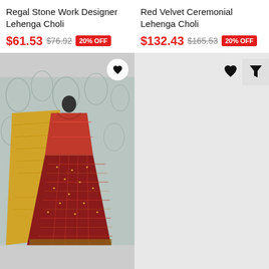Regal Stone Work Designer Lehenga Choli
$61.53  $76.92  20% OFF
[Figure (photo): Red and yellow designer lehenga choli on a mannequin with a floral grey background]
Red Velvet Ceremonial Lehenga Choli
$132.43  $165.53  20% OFF
[Figure (photo): Placeholder area for Red Velvet Ceremonial Lehenga Choli product image with heart and filter icons]